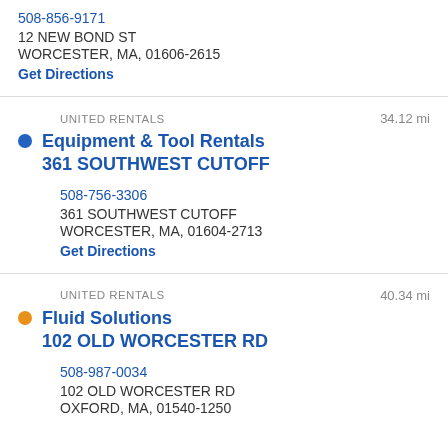508-856-9171
12 NEW BOND ST
WORCESTER, MA, 01606-2615
Get Directions
UNITED RENTALS
34.12 mi
Equipment & Tool Rentals 361 SOUTHWEST CUTOFF
508-756-3306
361 SOUTHWEST CUTOFF
WORCESTER, MA, 01604-2713
Get Directions
UNITED RENTALS
40.34 mi
Fluid Solutions 102 OLD WORCESTER RD
508-987-0034
102 OLD WORCESTER RD
OXFORD, MA, 01540-1250